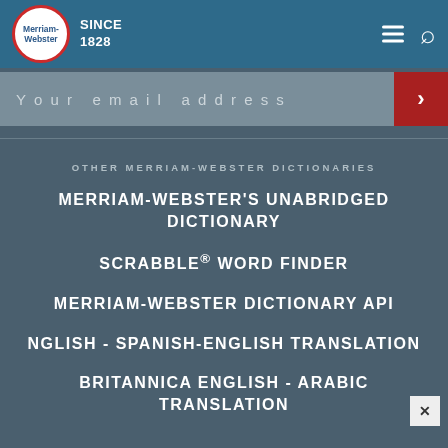Merriam-Webster SINCE 1828
Your email address
OTHER MERRIAM-WEBSTER DICTIONARIES
MERRIAM-WEBSTER'S UNABRIDGED DICTIONARY
SCRABBLE® WORD FINDER
MERRIAM-WEBSTER DICTIONARY API
NGLISH - SPANISH-ENGLISH TRANSLATION
BRITANNICA ENGLISH - ARABIC TRANSLATION